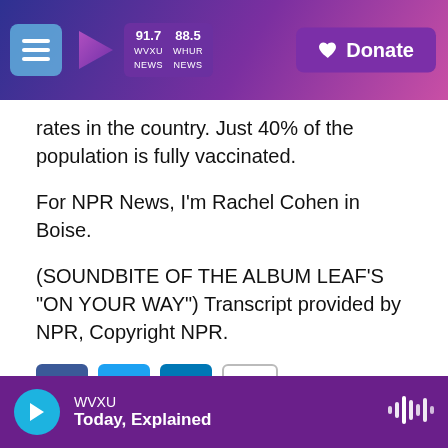WVXU 91.7 NEWS | WHUR 88.5 NEWS | Donate
rates in the country. Just 40% of the population is fully vaccinated.
For NPR News, I'm Rachel Cohen in Boise.
(SOUNDBITE OF THE ALBUM LEAF'S "ON YOUR WAY") Transcript provided by NPR, Copyright NPR.
[Figure (other): Social sharing icons: Facebook, Twitter, LinkedIn, Email]
[Figure (photo): Placeholder image for Rachel Cohen]
Rachel Cohen
Rachel Cohen joined Boise State Public
WVXU | Today, Explained